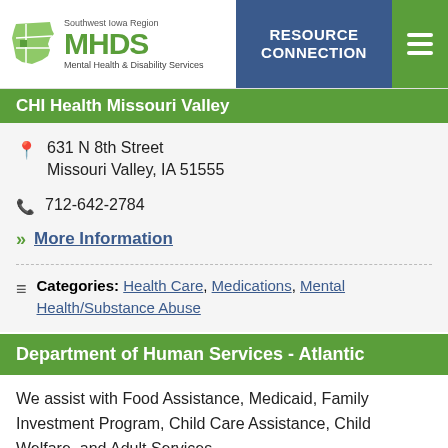[Figure (logo): Southwest Iowa Region MHDS Mental Health & Disability Services logo with Iowa state map shape in green, and Resource Connection button in blue, and hamburger menu in green]
CHI Health Missouri Valley
631 N 8th Street
Missouri Valley, IA 51555
712-642-2784
More Information
Categories: Health Care, Medications, Mental Health/Substance Abuse
Department of Human Services - Atlantic
We assist with Food Assistance, Medicaid, Family Investment Program, Child Care Assistance, Child Welfare, and Adult Services.
601 Walnut Street
Atlantic, IA 50022